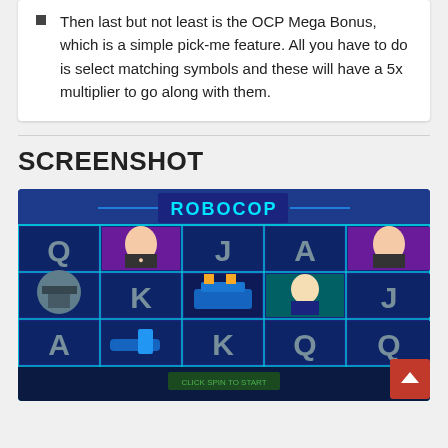Then last but not least is the OCP Mega Bonus, which is a simple pick-me feature. All you have to do is select matching symbols and these will have a 5x multiplier to go along with them.
SCREENSHOT
[Figure (screenshot): Screenshot of a RoboCop slot machine game showing a 5x3 grid with various symbols including Q, J, A, K card symbols and character symbols (RoboCop helmet, a female character, a male character in suit). The game interface has a blue background with a 'ROBOCOP' logo at the top. A red back-to-top button is visible in the bottom right corner.]